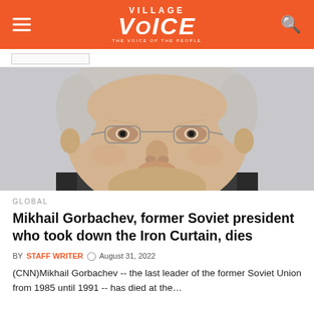Village Voice
[Figure (photo): Close-up photograph of Mikhail Gorbachev, an elderly man with white hair wearing metal-framed glasses, against a light background.]
GLOBAL
Mikhail Gorbachev, former Soviet president who took down the Iron Curtain, dies
BY STAFF WRITER  August 31, 2022
(CNN)Mikhail Gorbachev -- the last leader of the former Soviet Union from 1985 until 1991 -- has died at the…